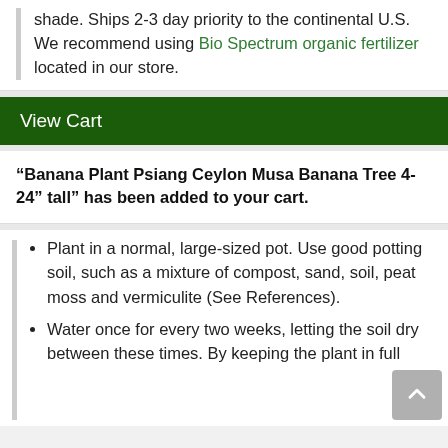shade. Ships 2-3 day priority to the continental U.S. We recommend using Bio Spectrum organic fertilizer located in our store.
View Cart
“Banana Plant Psiang Ceylon Musa Banana Tree 4-24” tall” has been added to your cart.
Plant in a normal, large-sized pot. Use good potting soil, such as a mixture of compost, sand, soil, peat moss and vermiculite (See References).
Water once for every two weeks, letting the soil dry between these times. By keeping the plant in full